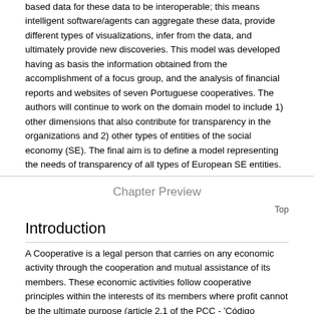based data for these data to be interoperable; this means intelligent software/agents can aggregate these data, provide different types of visualizations, infer from the data, and ultimately provide new discoveries. This model was developed having as basis the information obtained from the accomplishment of a focus group, and the analysis of financial reports and websites of seven Portuguese cooperatives. The authors will continue to work on the domain model to include 1) other dimensions that also contribute for transparency in the organizations and 2) other types of entities of the social economy (SE). The final aim is to define a model representing the needs of transparency of all types of European SE entities.
Chapter Preview
Top
Introduction
A Cooperative is a legal person that carries on any economic activity through the cooperation and mutual assistance of its members. These economic activities follow cooperative principles within the interests of its members where profit cannot be the ultimate purpose (article 2.1 of the PCC - 'Código Cooperativo Português')¹ (Fajardo et al., 2017). The primary purpose of cooperatives is to meet the economic, social and cultural needs of their members (mutuality) and not to make a profit (Bandeira, Meira, & Alves, 2016; Meira, 2009).
There are 12 branches of Cooperative in Portugal today: consumer, trade,